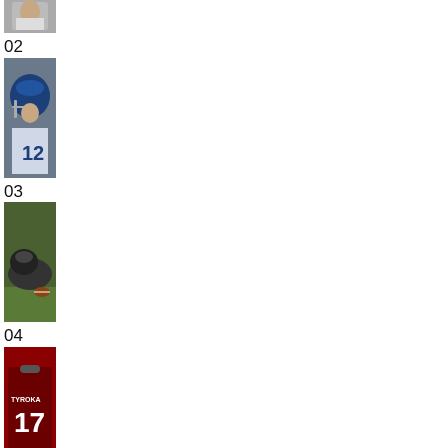[Figure (photo): Football player photo, partial view at top (item 01 cut off at top)]
02
[Figure (photo): Football player wearing jersey number 12 and blue Cowboys helmet]
03
[Figure (photo): Football player on ground with helmet and ball]
04
[Figure (photo): Football jersey number 17, player name on back (TYROJA or similar)]
05
[Figure (photo): Football player FULCHER number 33]
06
[Figure (photo): Football player in red/white uniform, 49ers style, smiling]
07
[Figure (photo): Football player photo, partial at bottom of page]